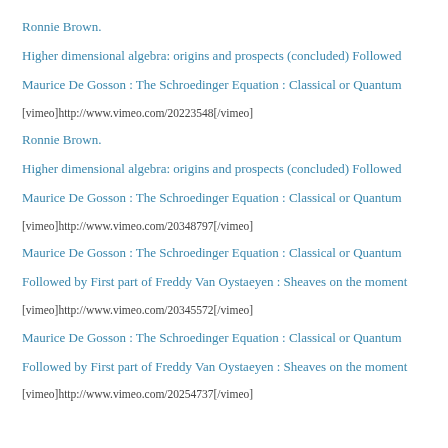Ronnie Brown.
Higher dimensional algebra: origins and prospects (concluded) Followed
Maurice De Gosson :  The Schroedinger Equation : Classical or Quantum
[vimeo]http://www.vimeo.com/20223548[/vimeo]
Ronnie Brown.
Higher dimensional algebra: origins and prospects (concluded) Followed
Maurice De Gosson :  The Schroedinger Equation : Classical or Quantum
[vimeo]http://www.vimeo.com/20348797[/vimeo]
Maurice De Gosson :  The Schroedinger Equation : Classical or Quantum
Followed by First part of Freddy Van Oystaeyen : Sheaves on the moment
[vimeo]http://www.vimeo.com/20345572[/vimeo]
Maurice De Gosson :  The Schroedinger Equation : Classical or Quantum
Followed by First part of Freddy Van Oystaeyen : Sheaves on the moment
[vimeo]http://www.vimeo.com/20254737[/vimeo]